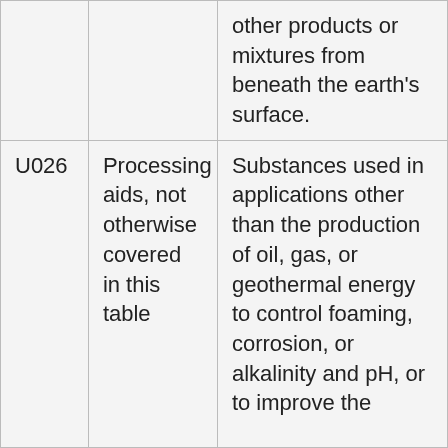|  |  | other products or mixtures from beneath the earth's surface. |
| U026 | Processing aids, not otherwise covered in this table | Substances used in applications other than the production of oil, gas, or geothermal energy to control foaming, corrosion, or alkalinity and pH, or to improve the |